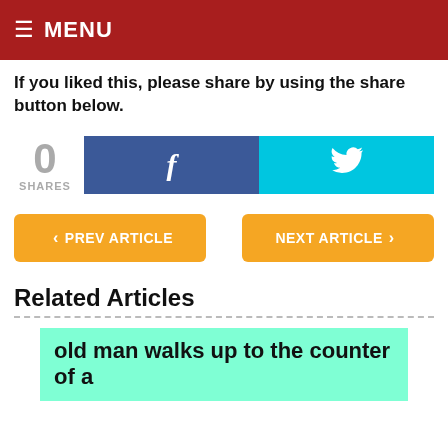≡ MENU
If you liked this, please share by using the share button below.
[Figure (infographic): Share count showing 0 SHARES, with Facebook (f) button in blue and Twitter bird button in cyan]
< PREV ARTICLE    NEXT ARTICLE >
Related Articles
old man walks up to the counter of a